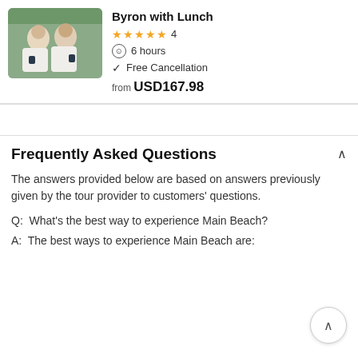[Figure (photo): Two people smiling, casually dressed in white, holding drinks, seated in an outdoor/cafe setting]
Byron with Lunch
★★★★★ 4
6 hours
Free Cancellation
from USD167.98
Frequently Asked Questions
The answers provided below are based on answers previously given by the tour provider to customers' questions.
Q:  What's the best way to experience Main Beach?
A:  The best ways to experience Main Beach are: